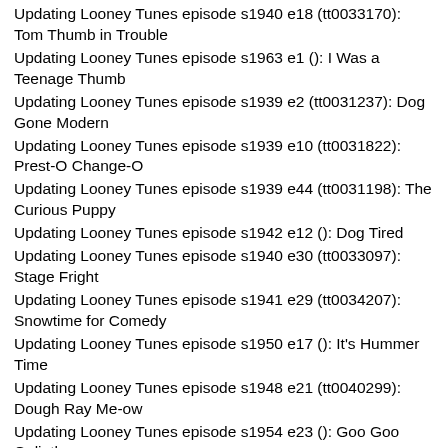Updating Looney Tunes episode s1940 e18 (tt0033170): Tom Thumb in Trouble
Updating Looney Tunes episode s1963 e1 (): I Was a Teenage Thumb
Updating Looney Tunes episode s1939 e2 (tt0031237): Dog Gone Modern
Updating Looney Tunes episode s1939 e10 (tt0031822): Prest-O Change-O
Updating Looney Tunes episode s1939 e44 (tt0031198): The Curious Puppy
Updating Looney Tunes episode s1942 e12 (): Dog Tired
Updating Looney Tunes episode s1940 e30 (tt0033097): Stage Fright
Updating Looney Tunes episode s1941 e29 (tt0034207): Snowtime for Comedy
Updating Looney Tunes episode s1950 e17 (): It's Hummer Time
Updating Looney Tunes episode s1948 e21 (tt0040299): Dough Ray Me-ow
Updating Looney Tunes episode s1954 e23 (): Goo Goo Goliath
Updating Looney Tunes episode s1953 e3 (): A Mouse Divided
Updating Looney Tunes episode s1955 e6 (tt0048661): Stork Naked
Updating Looney Tunes episode s1951 e11 (): A Hound for Trouble
Updating Looney Tunes episode s1950 e20 (): Dog Gone South